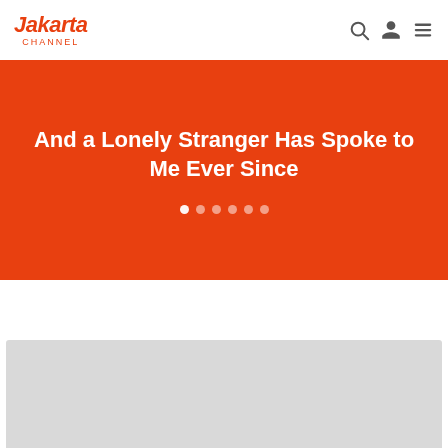Jakarta Channel
And a Lonely Stranger Has Spoke to Me Ever Since
[Figure (screenshot): Gray placeholder image block below the hero banner]